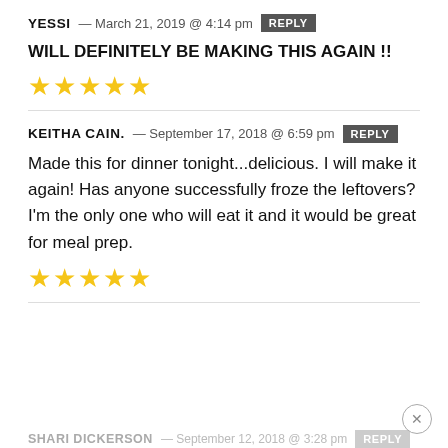YESSI — March 21, 2019 @ 4:14 pm REPLY
WILL DEFINITELY BE MAKING THIS AGAIN !!
[Figure (other): 5 gold stars rating]
KEITHA CAIN. — September 17, 2018 @ 6:59 pm REPLY
Made this for dinner tonight...delicious. I will make it again!  Has anyone successfully froze the leftovers?  I'm the only one who will eat it and it would be great for meal prep.
[Figure (other): 5 gold stars rating]
SHARI DICKERSON — September 12, 2018 @ 3:28 pm REPLY